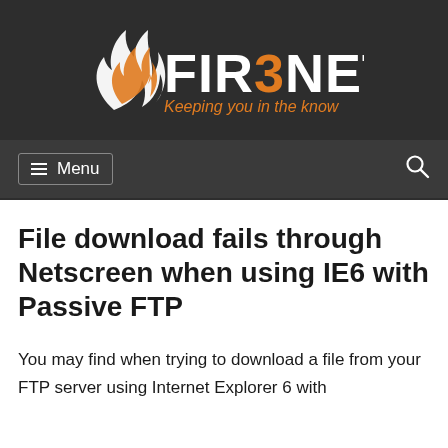[Figure (logo): Fir3net logo with flame icon and tagline 'Keeping you in the know' on dark background]
File download fails through Netscreen when using IE6 with Passive FTP
You may find when trying to download a file from your FTP server using Internet Explorer 6 with